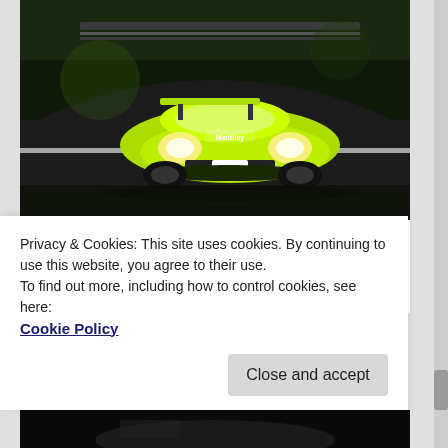[Figure (photo): A bright yellow-green Porsche GT3 race car with sponsor livery racing on a track, photographed from the front-left angle. Dark background with guardrails.]
Video: 2021 Nürburgring 24 Hours full race highlights
6 June 2021
Privacy & Cookies: This site uses cookies. By continuing to use this website, you agree to their use.
To find out more, including how to control cookies, see here:
Cookie Policy
Close and accept